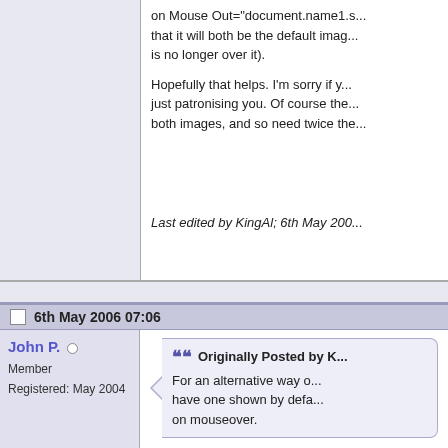on Mouse Out="document.name1.s... that it will both be the default ima... is no longer over it).
Hopefully that helps. I'm sorry if y... just patronising you. Of course the... both images, and so need twice the...
Last edited by KingAl; 6th May 200...
6th May 2006 07:06
John P.
Member
Registered: May 2004
Originally Posted by K...
For an alternative way o... have one shown by defa... on mouseover.
I did think of using some kind of m... it would work on various browsers... tip though; I'll look into it. :)